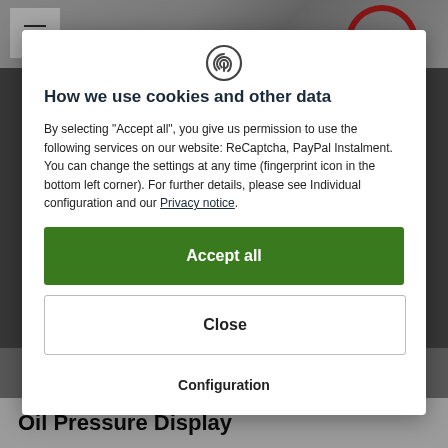[Figure (screenshot): Background image showing a gauges/dials interface partially obscured by a cookie consent modal dialog. A hamburger menu icon is visible in the top left, and a red circular gauge element is visible in the top right background.]
How we use cookies and other data
By selecting "Accept all", you give us permission to use the following services on our website: ReCaptcha, PayPal Instalment. You can change the settings at any time (fingerprint icon in the bottom left corner). For further details, please see Individual configuration and our Privacy notice.
Accept all
Close
Configuration
Oil Pressure Display